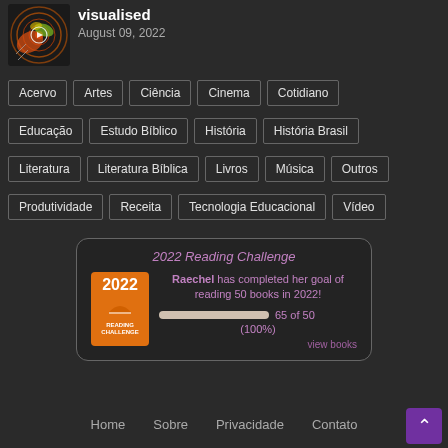[Figure (illustration): Circular radar-like visualization with orange, green, and yellow swirls on dark background with play button icon]
visualised
August 09, 2022
Acervo
Artes
Ciência
Cinema
Cotidiano
Educação
Estudo Bíblico
História
História Brasil
Literatura
Literatura Bíblica
Livros
Música
Outros
Produtividade
Receita
Tecnologia Educacional
Vídeo
[Figure (infographic): 2022 Reading Challenge widget showing Raechel has completed her goal of reading 50 books in 2022! 65 of 50 (100%). view books]
Home   Sobre   Privacidade   Contato